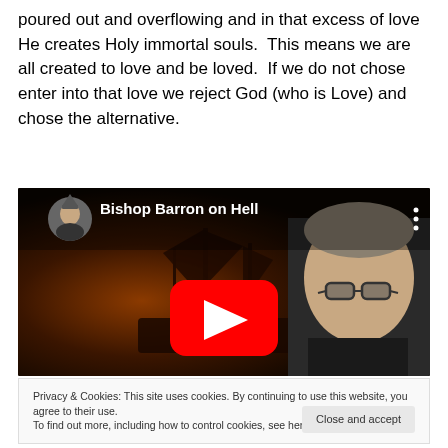poured out and overflowing and in that excess of love He creates Holy immortal souls.  This means we are all created to love and be loved.  If we do not chose enter into that love we reject God (who is Love) and chose the alternative.
[Figure (screenshot): YouTube video thumbnail for 'Bishop Barron on Hell' showing a man with glasses against a dark ship background, with a red play button in the center and a circular avatar of Bishop Barron in the top left.]
Privacy & Cookies: This site uses cookies. By continuing to use this website, you agree to their use.
To find out more, including how to control cookies, see here: Cookie Policy